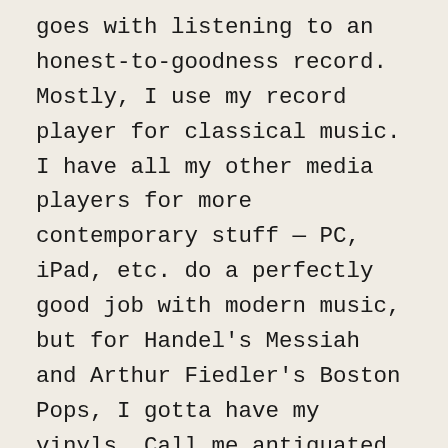goes with listening to an honest-to-goodness record. Mostly, I use my record player for classical music. I have all my other media players for more contemporary stuff — PC, iPad, etc. do a perfectly good job with modern music, but for Handel's Messiah and Arthur Fiedler's Boston Pops, I gotta have my vinyls. Call me antiquated if you will.
9. Coffee. Not the stuff in a blue can from the grocery store, the good stuff. Yes, I grind my own beans. And yes, I do have three separate coffeemakers in my house: French press, percolater (percolator?), and finally, Keurig